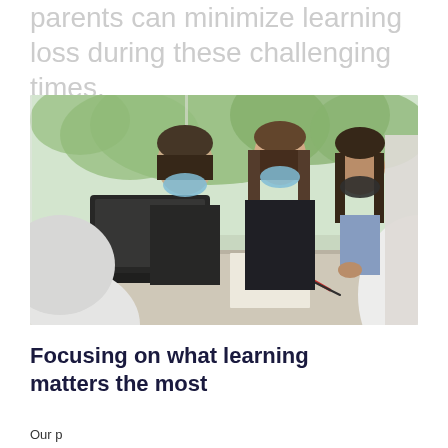parents can minimize learning loss during these challenging times.
[Figure (photo): Four students wearing face masks sitting around a table in a classroom, working on laptops and papers. Trees visible through large windows in the background.]
Focusing on what learning matters the most
Our page ends here, which is the beginning of a new paragraph of body text.